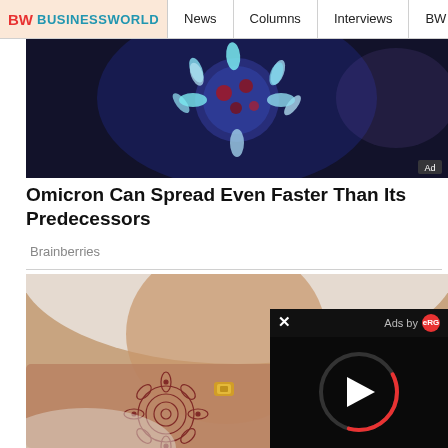BW BUSINESSWORLD | News | Columns | Interviews | BW
[Figure (photo): A glowing 3D render of a coronavirus particle against a dark background. Ad badge visible in bottom right corner.]
Omicron Can Spread Even Faster Than Its Predecessors
Brainberries
[Figure (photo): Close-up photo of a woman wearing a white hijab with intricate henna mehndi design on her hand, ring visible. An 'Ads by eRG' video overlay with play button appears in the bottom-right corner.]